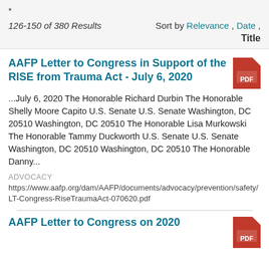*
126-150 of 380 Results
Sort by Relevance , Date , Title
AAFP Letter to Congress in Support of the RISE from Trauma Act - July 6, 2020
...July 6, 2020 The Honorable Richard Durbin The Honorable Shelly Moore Capito U.S. Senate U.S. Senate Washington, DC 20510 Washington, DC 20510 The Honorable Lisa Murkowski The Honorable Tammy Duckworth U.S. Senate U.S. Senate Washington, DC 20510 Washington, DC 20510 The Honorable Danny...
ADVOCACY
https://www.aafp.org/dam/AAFP/documents/advocacy/prevention/safety/LT-Congress-RiseTraumaAct-070620.pdf
AAFP Letter to Congress on 2020